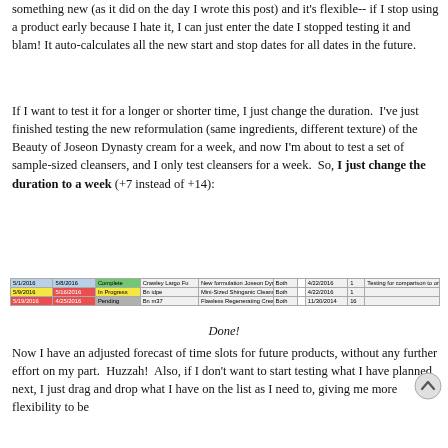something new (as it did on the day I wrote this post) and it's flexible-- if I stop using a product early because I hate it, I can just enter the date I stopped testing it and blam! It auto-calculates all the new start and stop dates for all dates in the future.
If I want to test it for a longer or shorter time, I just change the duration.  I've just finished testing the new reformulation (same ingredients, different texture) of the Beauty of Joseon Dynasty cream for a week, and now I'm about to test a set of sample-sized cleansers, and I only test cleansers for a week.  So, I just change the duration to a week (+7 instead of +14):
[Figure (screenshot): A spreadsheet screenshot showing three rows of product testing schedule with colored status cells (green 'Complete', yellow 'In Progress', red 'Pending') and columns for dates, product names, and notes.]
Done!
Now I have an adjusted forecast of time slots for future products, without any further effort on my part.  Huzzah!  Also, if I don't want to start testing what I have planned next, I just drag and drop what I have on the list as I need to, giving me more flexibility to be